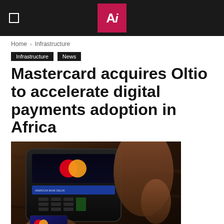Ai
Home » Infrastructure
Infrastructure
News
Mastercard acquires Oltio to accelerate digital payments adoption in Africa
[Figure (photo): Person tapping a Mastercard credit card on a payment terminal on a wooden table surface]